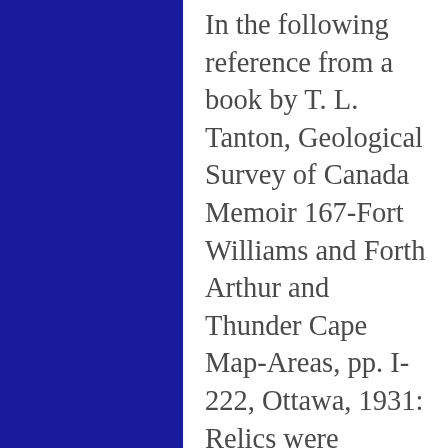In the following reference from a book by T. L. Tanton, Geological Survey of Canada Memoir 167-Fort Williams and Forth Arthur and Thunder Cape Map-Areas, pp. I-222, Ottawa, 1931: Relics were discovered July, 1918 in an excavation made by the Canada Car and Foundry Company about 80 feet north from the turning basin Westforl.  About twelve bones of a mammal and a finely made copper spearhead were found together about 40 feet below the surface of the ground.  The materials found were submitted to the Geological Survey and Harlan I. Smith, archaeologist, reported the results of examination as follows: According to Mr. Lawrence I. Lambe,